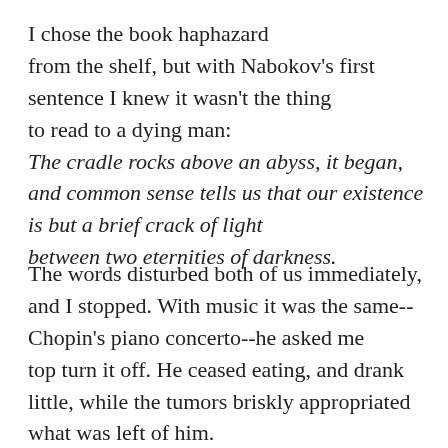I chose the book haphazard from the shelf, but with Nabokov's first sentence I knew it wasn't the thing to read to a dying man: The cradle rocks above an abyss, it began, and common sense tells us that our existence is but a brief crack of light between two eternities of darkness.
The words disturbed both of us immediately, and I stopped. With music it was the same--Chopin's piano concerto--he asked me top turn it off. He ceased eating, and drank little, while the tumors briskly appropriated what was left of him.